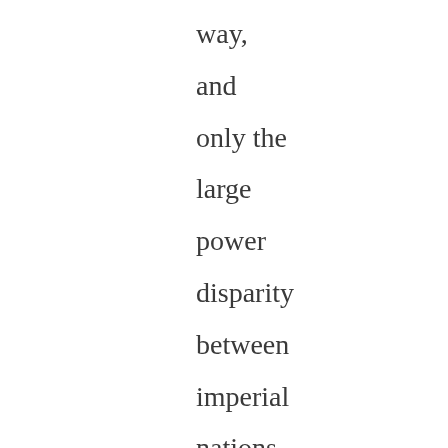way, and only the large power disparity between imperial nations and exploited nations at that point in time, coupled with a moral hypocris